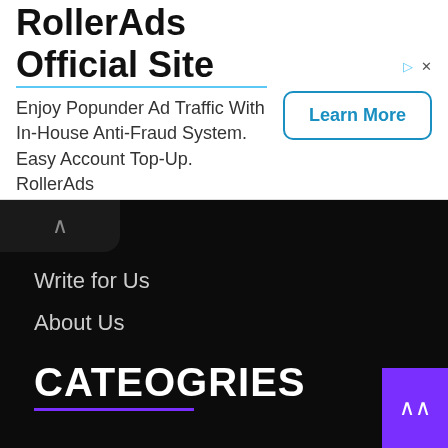[Figure (screenshot): RollerAds advertisement banner with title, description text, and Learn More button]
Write for Us
About Us
Privacy Policy
Contact Us
Aksmetop.com
bfsinews.in
CATEOGRIES